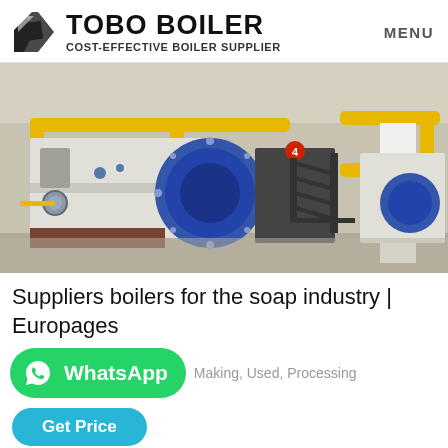[Figure (logo): TOBO BOILER logo with geometric icon and tagline COST-EFFECTIVE BOILER SUPPLIER, with MENU text on right]
[Figure (photo): Industrial boiler room with large blue cylindrical boilers, yellow pipework, black metal staircase, and white structural columns in a warehouse setting]
Suppliers boilers for the soap industry | Europages
[Figure (other): WhatsApp button (green rounded rectangle with WhatsApp icon and label) followed by text: Making, Used, Processing]
[Figure (other): Get Price button (teal/cyan rounded rectangle)]